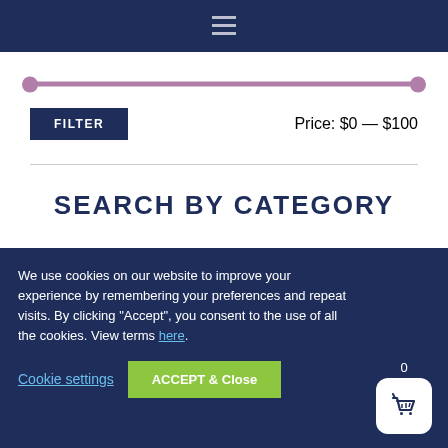[Figure (other): Top navigation bar with dark navy background and a menu/hamburger icon]
[Figure (other): Price range slider with mauve/purple track and two circle thumbs at ends, spanning $0 to $100]
FILTER
Price: $0 — $100
SEARCH BY CATEGORY
We use cookies on our website to improve your experience by remembering your preferences and repeat visits. By clicking “Accept”, you consent to the use of all the cookies. View terms here.
Cookie settings
ACCEPT & Close